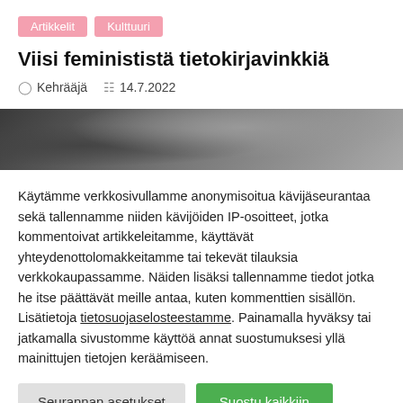Artikkelit
Kulttuuri
Viisi feminististä tietokirjavinkkiä
Kehrääjä  14.7.2022
[Figure (photo): Black and white photo strip, partial view of a dark background with blurred shapes]
Käytämme verkkosivullamme anonymisoitua kävijäseurantaa sekä tallennamme niiden kävijöiden IP-osoitteet, jotka kommentoivat artikkeleitamme, käyttävät yhteydenottolomakkeitamme tai tekevät tilauksia verkkokaupassamme. Näiden lisäksi tallennamme tiedot jotka he itse päättävät meille antaa, kuten kommenttien sisällön. Lisätietoja tietosuojaselosteestamme. Painamalla hyväksy tai jatkamalla sivustomme käyttöä annat suostumuksesi yllä mainittujen tietojen keräämiseen.
Seurannan asetukset
Suostu kaikkiin